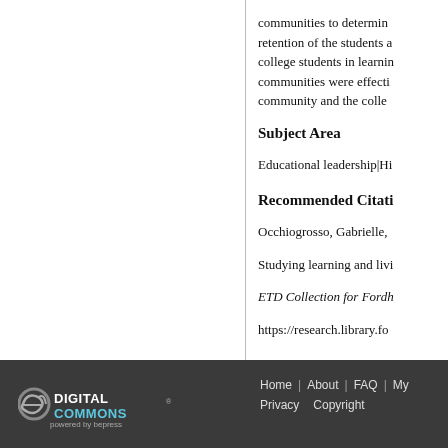communities to determine retention of the students and college students in learning communities were effectively community and the college
Subject Area
Educational leadership|Hi
Recommended Citation
Occhiogrosso, Gabrielle, Studying learning and living ETD Collection for Fordh https://research.library.fo
Digital Commons powered by bepress | Home | About | FAQ | My | Privacy | Copyright